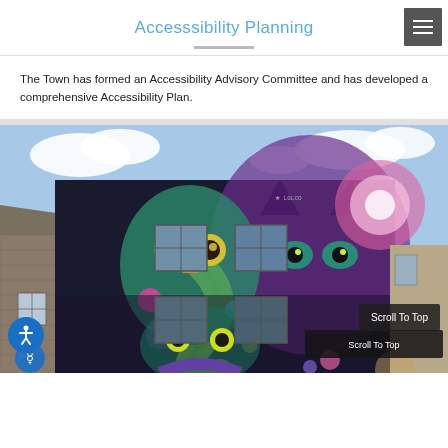Accesssibility Planning
The Town has formed an Accessibility Advisory Committee and has developed a comprehensive Accessibility Plan.
[Figure (photo): Street art mural on building facade featuring colorful owl, cat, and animal figures in teal, yellow, pink, and purple, with building windows visible. Brick building on left and partial structure on right.]